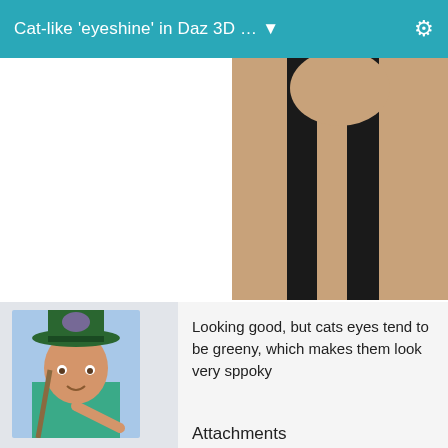Cat-like 'eyeshine' in Daz 3D … ▼
[Figure (photo): Partial view of a 3D rendered figure showing neck/chest area with a black tank top against a tan skin tone]
[Figure (photo): 3D rendered character avatar wearing a green top hat with teal decoration, pointing finger, older male figure]
Chohole
Posts: 33,604
August 2012
Looking good, but cats eyes tend to be greeny, which makes them look very sppoky
Attachments
[Figure (photo): Partial view of a wooden door with door hardware, 3D rendered]